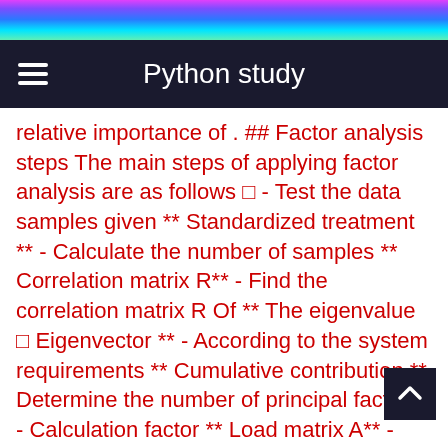Python study
relative importance of . ## Factor analysis steps The main steps of applying factor analysis are as follows □ - Test the data samples given ** Standardized treatment ** - Calculate the number of samples ** Correlation matrix R** - Find the correlation matrix R Of ** The eigenvalue □ Eigenvector ** - According to the system requirements ** Cumulative contribution ** Determine the number of principal factors - Calculation factor ** Load matrix A** - Finally determine the factor model ## factor_analyzer library utilize Python The core library for factor analysis is □factor_analyzer ```python pip install factor_analyzer ``` This library mainly has two main modules to learn □ - factor_analyzer.analyze□ a key □ - factor_analyzer.factor_analyzer Official